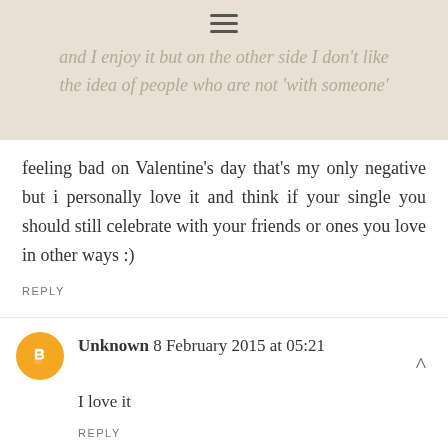and I enjoy it but on the other side I don't like the idea of people who are not 'with someone'
feeling bad on Valentine's day that's my only negative but i personally love it and think if your single you should still celebrate with your friends or ones you love in other ways :)
REPLY
Unknown 8 February 2015 at 05:21
I love it
REPLY
millymollymandii 8 February 2015 at 20:24
I'm indifferent to be honest, I'm lucky to get a